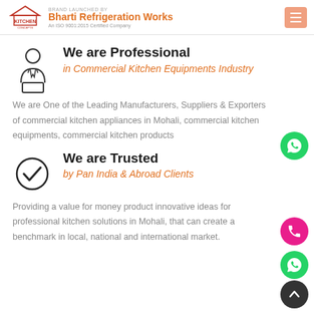Bharti Refrigeration Works — An ISO 9001:2015 Certified Company — BRAND LAUNCHED BY KITCHEN CONCEPTS
We are Professional
in Commercial Kitchen Equipments Industry
We are One of the Leading Manufacturers, Suppliers & Exporters of commercial kitchen appliances in Mohali, commercial kitchen equipments, commercial kitchen products
We are Trusted
by Pan India & Abroad Clients
Providing a value for money product innovative ideas for professional kitchen solutions in Mohali, that can create a benchmark in local, national and international market.